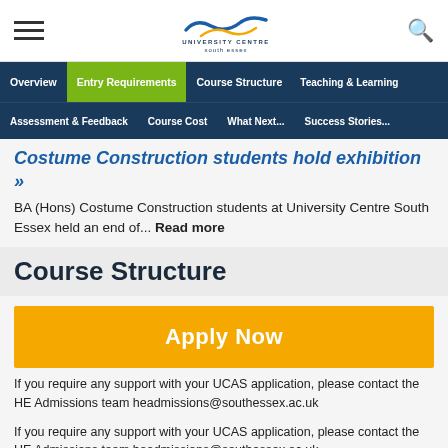[Figure (logo): University Centre South Essex logo with stylized wave graphic]
Overview | Entry Requirements | Course Structure | Teaching & Learning | Assessment & Feedback | Course Cost | What Next... | Success Stories...
Costume Construction students hold exhibition »
BA (Hons) Costume Construction students at University Centre South Essex held an end of... Read more
Course Structure
Apply Now
If you require any support with your UCAS application, please contact the HE Admissions team headmissions@southessex.ac.uk
If you require any support with your UCAS application, please contact the HE Admissions team headmissions@southessex.ac.uk